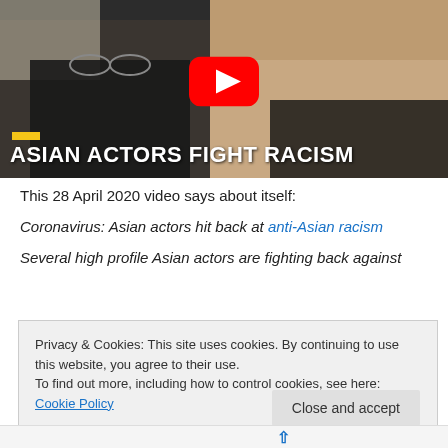[Figure (screenshot): YouTube video thumbnail showing two people, with YouTube play button overlay and title 'ASIAN ACTORS FIGHT RACISM' in white bold text at the bottom. A yellow bar is visible near the bottom left.]
This 28 April 2020 video says about itself:
Coronavirus: Asian actors hit back at anti-Asian racism
Several high profile Asian actors are fighting back against
Privacy & Cookies: This site uses cookies. By continuing to use this website, you agree to their use.
To find out more, including how to control cookies, see here: Cookie Policy
Close and accept